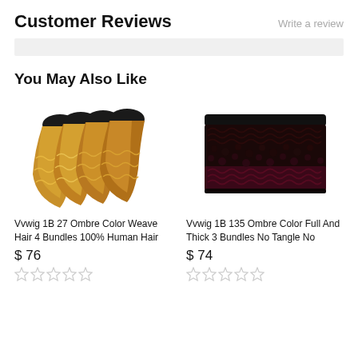Customer Reviews
Write a review
You May Also Like
[Figure (photo): Four bundles of ombre hair weave with black roots and golden brown ends, wavy texture]
Vvwig 1B 27 Ombre Color Weave Hair 4 Bundles 100% Human Hair
$ 76
[Figure (photo): Three bundles of ombre dark curly kinky hair with black roots and dark burgundy ends]
Vvwig 1B 135 Ombre Color Full And Thick 3 Bundles No Tangle No
$ 74